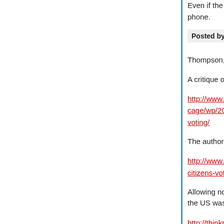Even if the current guy sucks, and loses his phone.
Posted by: russell | March 20, 2015 at 03:24 PM
Thompson,
A critique of the article:
http://www.washingtonpost.com/blogs/monkey-cage/wp/2014/10/27/methodological-challenges-a-voting/
The authors reply:
http://www.washingtonpost.com/blogs/monkey-ca-citizens-vote-in-u-s-elections-a-reply-to-our-critics
Allowing non-citizens to vote was widespread in the US was a paradise?
http://thinkprogress.org/justice/2013/05/24/20089-
Posted by: bobbyp | March 20, 2015 at 03:26 PM
All this talk of mandatory voting prompted me to g